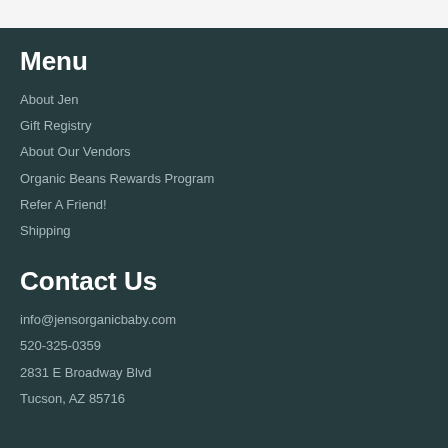Menu
About Jen
Gift Registry
About Our Vendors
Organic Beans Rewards Program
Refer A Friend!
Shipping
Contact Us
info@jensorganicbaby.com
520-325-0359
2831 E Broadway Blvd
Tucson, AZ 85716